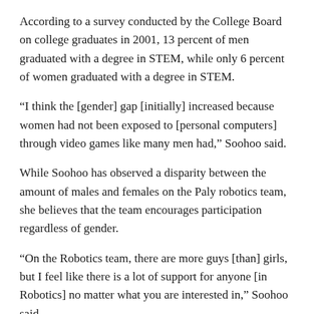According to a survey conducted by the College Board on college graduates in 2001, 13 percent of men graduated with a degree in STEM, while only 6 percent of women graduated with a degree in STEM.
“I think the [gender] gap [initially] increased because women had not been exposed to [personal computers] through video games like many men had,” Soohoo said.
While Soohoo has observed a disparity between the amount of males and females on the Paly robotics team, she believes that the team encourages participation regardless of gender.
“On the Robotics team, there are more guys [than] girls, but I feel like there is a lot of support for anyone [in Robotics] no matter what you are interested in,” Soohoo said.
Every year, more opportunities and programs are opening up for women interested in STEM, such as the National Girls Collaborative Project, the American Association of University Women and the Association for Women in Science.